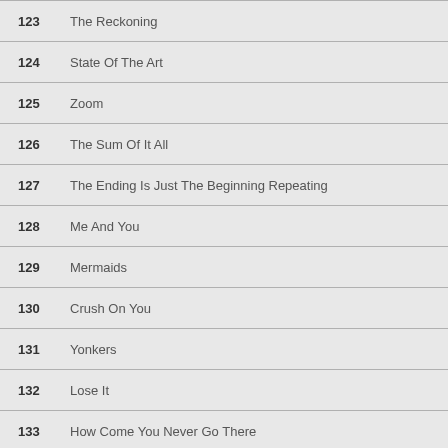123  The Reckoning
124  State Of The Art
125  Zoom
126  The Sum Of It All
127  The Ending Is Just The Beginning Repeating
128  Me And You
129  Mermaids
130  Crush On You
131  Yonkers
132  Lose It
133  How Come You Never Go There